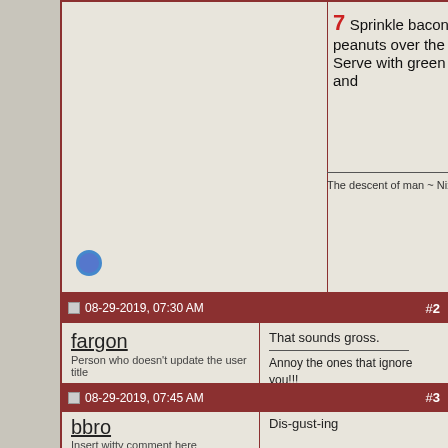7 Sprinkle bacon and peanuts over the chicken. Serve with green salad and
The descent of man ~ Nixon, Friedman, Reagan, T
08-29-2019, 07:30 AM  #2
fargon
Person who doesn't update the user title
Join Date: Dec 2005
Location: La Crosse, WI
Posts: 8,924
That sounds gross.

Annoy the ones that ignore you!!!
I live a blessed life
I Love my Country, I Fear the Government!!!
Heavily medicated for the good of mankind.
08-29-2019, 07:45 AM  #3
bbro
Insert witty comment here
Join Date: May 2004
Location: Raleigh, NC
Posts: 2,182
Dis-gust-ing

Camping